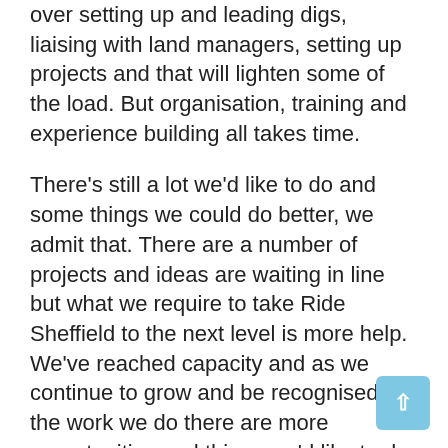over setting up and leading digs, liaising with land managers, setting up projects and that will lighten some of the load. But organisation, training and experience building all takes time.
There's still a lot we'd like to do and some things we could do better, we admit that. There are a number of projects and ideas are waiting in line but what we require to take Ride Sheffield to the next level is more help. We've reached capacity and as we continue to grow and be recognised for the work we do there are more opportunities and things we'd like to do.
We need people from around the city who are willing to step up and do something to aid the progress of mountain biking around Sheffield. It doesn't necessarily require huge amounts of time,